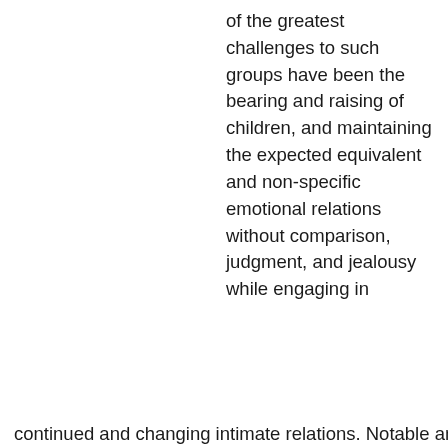of the greatest challenges to such groups have been the bearing and raising of children, and maintaining the expected equivalent and non-specific emotional relations without comparison, judgment, and jealousy while engaging in continued and changing intimate relations. Notable and